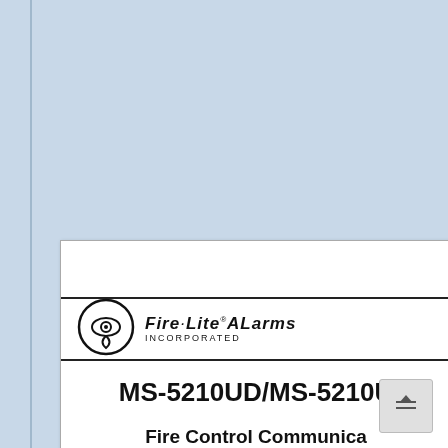[Figure (logo): Fire-Lite Alarms Incorporated logo with circular eye symbol]
MS-5210UD/MS-5210U
Fire Control Communica